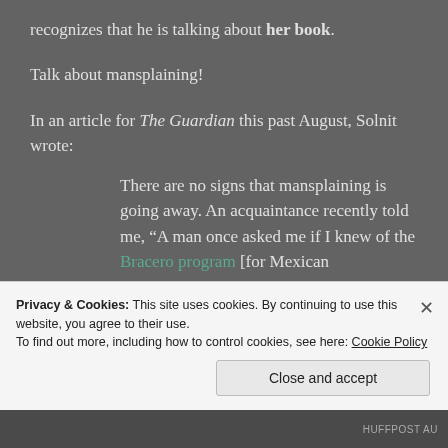recognizes that he is talking about her book.
Talk about mansplaining!
In an article for The Guardian this past August, Solnit wrote:
There are no signs that mansplaining is going away. An acquaintance recently told me, “A man once asked me if I knew of the Bracero program [for Mexican farmworkers in the US], and when I said, ‘Why yes, I wrote my
Privacy & Cookies: This site uses cookies. By continuing to use this website, you agree to their use.
To find out more, including how to control cookies, see here: Cookie Policy
Close and accept